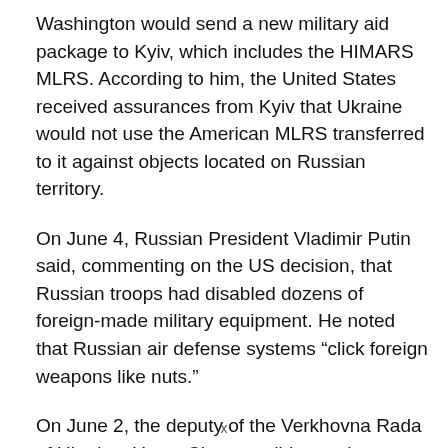Washington would send a new military aid package to Kyiv, which includes the HIMARS MLRS. According to him, the United States received assurances from Kyiv that Ukraine would not use the American MLRS transferred to it against objects located on Russian territory.
On June 4, Russian President Vladimir Putin said, commenting on the US decision, that Russian troops had disabled dozens of foreign-made military equipment. He noted that Russian air defense systems “click foreign weapons like nuts.”
On June 2, the deputy of the Verkhovna Rada of Ukraine, Yegor Chernev, did not rule out strikes with HIMARS
x